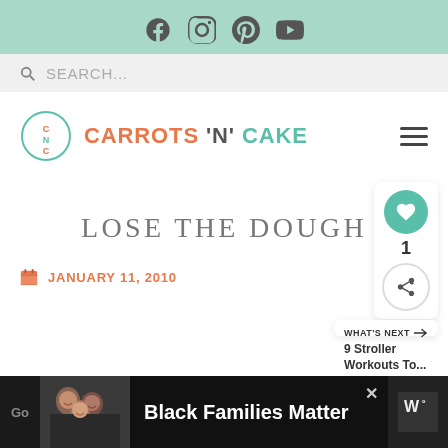[Figure (screenshot): Social media icons: Facebook, Instagram, Pinterest, YouTube in teal header bar]
[Figure (screenshot): Search bar with magnifying glass icon and placeholder text SEARCH...]
[Figure (logo): Carrots N Cake blog logo with CNC circle emblem and colorful text]
LOSE THE DOUGH
JANUARY 11, 2010
[Figure (photo): Advertisement banner: Black Families Matter with photo of smiling family]
[Figure (infographic): Side widget with heart like button showing count of 1 and share button]
WHAT'S NEXT → 9 Stroller Workouts To...